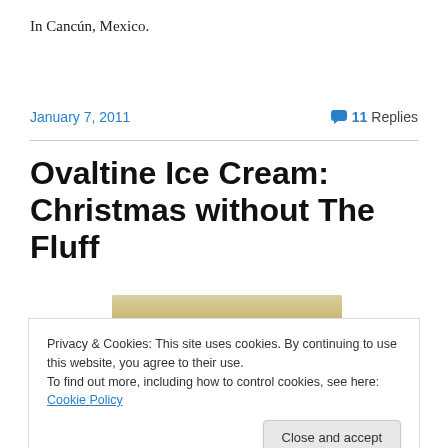In Cancún, Mexico.
January 7, 2011   11 Replies
Ovaltine Ice Cream: Christmas without The Fluff
[Figure (photo): Photo of ice cream in a bowl, top portion shows creamy yellowish ice cream, bottom portion shows a dark chocolate colored container with 'Loov!' text in yellow]
Privacy & Cookies: This site uses cookies. By continuing to use this website, you agree to their use.
To find out more, including how to control cookies, see here: Cookie Policy
Close and accept